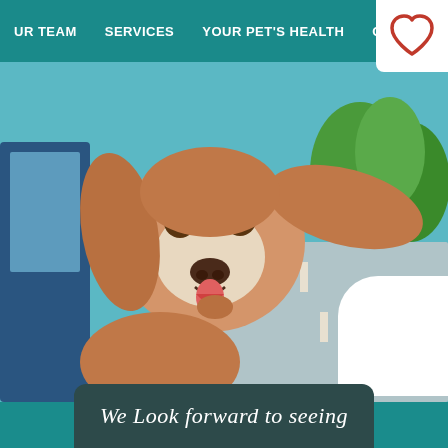OUR TEAM   SERVICES   YOUR PET'S HEALTH   CONTACT
[Figure (logo): Veterinary clinic logo - red heart outline on white background, top right corner]
[Figure (photo): Happy dog with ears flapping in the wind, leaning out of a car window on a road with trees in the background. Teal/turquoise color background overlay.]
[Figure (other): White rounded card element in bottom right corner]
We Look forward to seeing